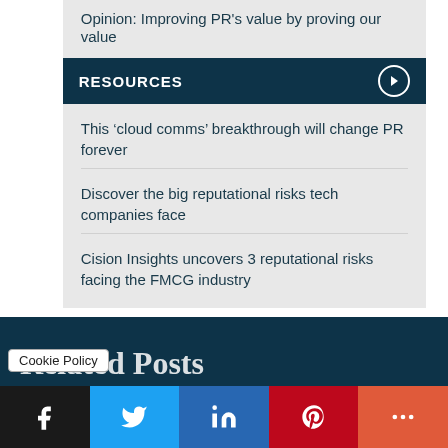Opinion: Improving PR's value by proving our value
RESOURCES
This ‘cloud comms’ breakthrough will change PR forever
Discover the big reputational risks tech companies face
Cision Insights uncovers 3 reputational risks facing the FMCG industry
Cookie Policy
Related Posts
Facebook Twitter LinkedIn Pinterest More